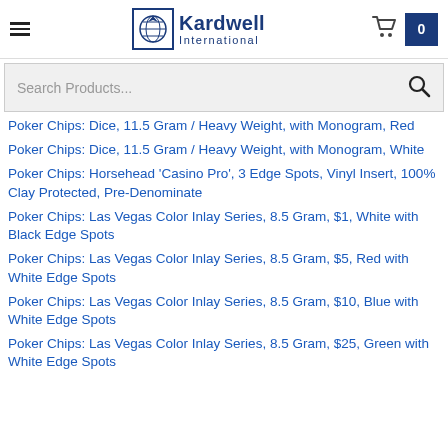Kardwell International
Poker Chips: Dice, 11.5 Gram / Heavy Weight, with Monogram, Red
Poker Chips: Dice, 11.5 Gram / Heavy Weight, with Monogram, White
Poker Chips: Horsehead 'Casino Pro', 3 Edge Spots, Vinyl Insert, 100% Clay Protected, Pre-Denominate
Poker Chips: Las Vegas Color Inlay Series, 8.5 Gram, $1, White with Black Edge Spots
Poker Chips: Las Vegas Color Inlay Series, 8.5 Gram, $5, Red with White Edge Spots
Poker Chips: Las Vegas Color Inlay Series, 8.5 Gram, $10, Blue with White Edge Spots
Poker Chips: Las Vegas Color Inlay Series, 8.5 Gram, $25, Green with White Edge Spots